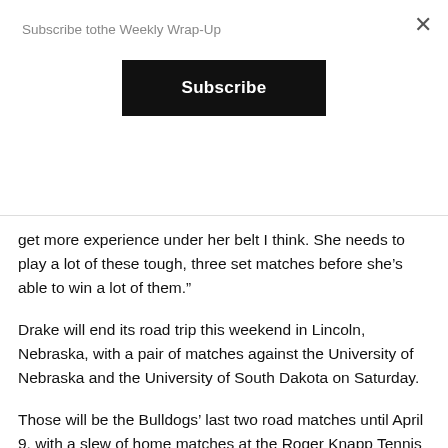Subscribe tothe Weekly Wrap-Up
get more experience under her belt I think. She needs to play a lot of these tough, three set matches before she’s able to win a lot of them.”
Drake will end its road trip this weekend in Lincoln, Nebraska, with a pair of matches against the University of Nebraska and the University of South Dakota on Saturday.
Those will be the Bulldogs’ last two road matches until April 9, with a slew of home matches at the Roger Knapp Tennis Center scheduled throughout March.
“I think (playing at home) is going to be huge,” Hollimon said. “A: because we’re going to have a lot of energy here